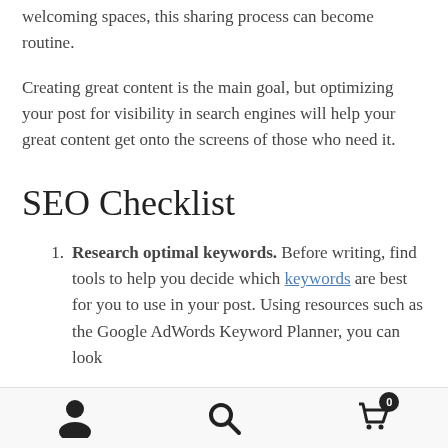welcoming spaces, this sharing process can become routine.
Creating great content is the main goal, but optimizing your post for visibility in search engines will help your great content get onto the screens of those who need it.
SEO Checklist
Research optimal keywords. Before writing, find tools to help you decide which keywords are best for you to use in your post. Using resources such as the Google AdWords Keyword Planner, you can look
[user icon] [search icon] [cart icon with badge 0]